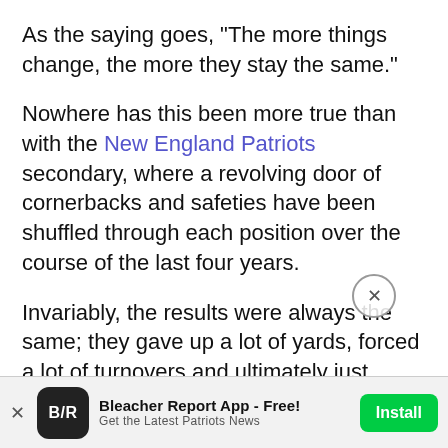As the saying goes, "The more things change, the more they stay the same."
Nowhere has this been more true than with the New England Patriots secondary, where a revolving door of cornerbacks and safeties have been shuffled through each position over the course of the last four years.
Invariably, the results were always the same; they gave up a lot of yards, forced a lot of turnovers and ultimately just weren't good enough to bring home another Lombardi Trophy.
But with Aqib Talib and Kyle Arrington re-signing, it looks like the Patriots will finally have some continuity for the [rest of text cut off]
Bleacher Report App - Free! Get the Latest Patriots News  [Install]